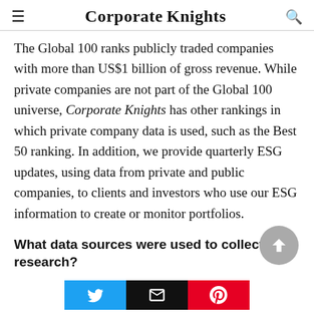Corporate Knights
The Global 100 ranks publicly traded companies with more than US$1 billion of gross revenue. While private companies are not part of the Global 100 universe, Corporate Knights has other rankings in which private company data is used, such as the Best 50 ranking. In addition, we provide quarterly ESG updates, using data from private and public companies, to clients and investors who use our ESG information to create or monitor portfolios.
What data sources were used to collect the research?
Fiscal 2020 data was collected by looking through